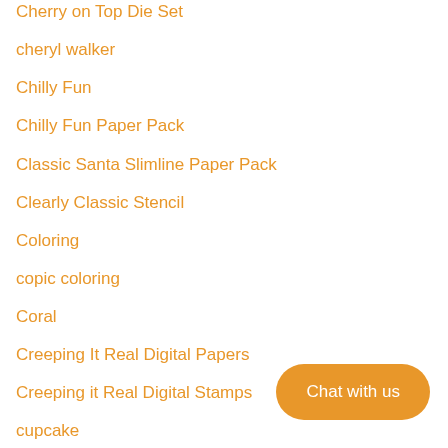Cherry on Top Die Set
cheryl walker
Chilly Fun
Chilly Fun Paper Pack
Classic Santa Slimline Paper Pack
Clearly Classic Stencil
Coloring
copic coloring
Coral
Creeping It Real Digital Papers
Creeping it Real Digital Stamps
cupcake
cupcake card with pocket
cupcake cards
Chat with us